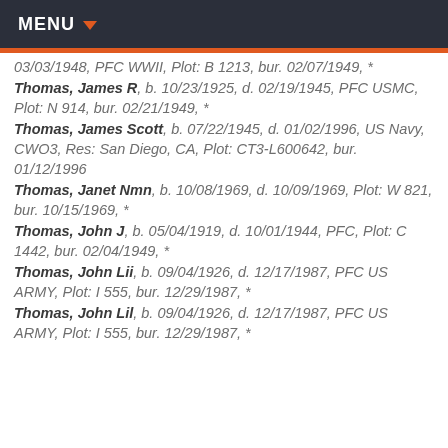MENU
[truncated top] bur. 02/07/1949, *
Thomas, James R, b. 10/23/1925, d. 02/19/1945, PFC USMC, Plot: N 914, bur. 02/21/1949, *
Thomas, James Scott, b. 07/22/1945, d. 01/02/1996, US Navy, CWO3, Res: San Diego, CA, Plot: CT3-L600642, bur. 01/12/1996
Thomas, Janet Nmn, b. 10/08/1969, d. 10/09/1969, Plot: W 821, bur. 10/15/1969, *
Thomas, John J, b. 05/04/1919, d. 10/01/1944, PFC, Plot: C 1442, bur. 02/04/1949, *
Thomas, John Lii, b. 09/04/1926, d. 12/17/1987, PFC US ARMY, Plot: I 555, bur. 12/29/1987, *
Thomas, John Lil, b. 09/04/1926, d. 12/17/1987, PFC US ARMY, Plot: I 555, bur. 12/29/1987, *